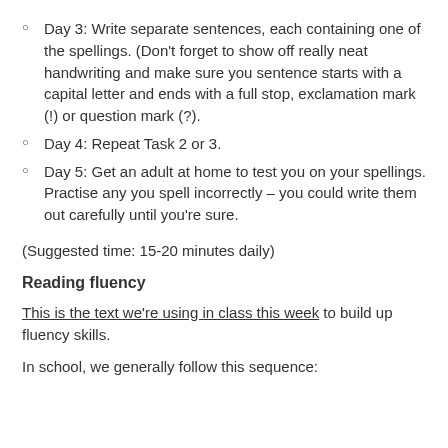Day 3: Write separate sentences, each containing one of the spellings. (Don't forget to show off really neat handwriting and make sure you sentence starts with a capital letter and ends with a full stop, exclamation mark (!) or question mark (?).
Day 4: Repeat Task 2 or 3.
Day 5: Get an adult at home to test you on your spellings. Practise any you spell incorrectly – you could write them out carefully until you're sure.
(Suggested time: 15-20 minutes daily)
Reading fluency
This is the text we're using in class this week to build up fluency skills.
In school, we generally follow this sequence: